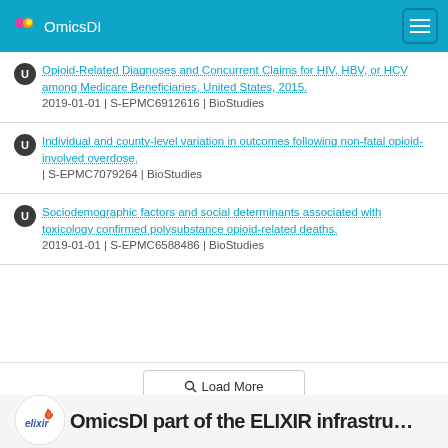OmicsDI
Opioid-Related Diagnoses and Concurrent Claims for HIV, HBV, or HCV among Medicare Beneficiaries, United States, 2015. 2019-01-01 | S-EPMC6912616 | BioStudies
Individual and county-level variation in outcomes following non-fatal opioid-involved overdose. | S-EPMC7079264 | BioStudies
Sociodemographic factors and social determinants associated with toxicology confirmed polysubstance opioid-related deaths. 2019-01-01 | S-EPMC6588486 | BioStudies
Load More
[Figure (logo): ELIXIR logo with stylized flame icon in orange/red on white circular background]
OmicsDI part of the ELIXIR infrastructure